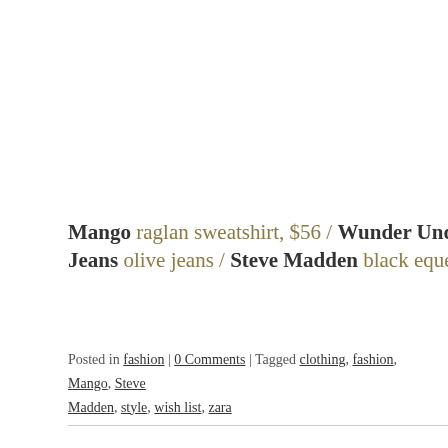Mango raglan sweatshirt, $56 / Wunder Under Pant *Lu Jeans olive jeans / Steve Madden black equestrian boot
Posted in fashion | 0 Comments | Tagged clothing, fashion, Mango, Steve Madden, style, wish list, zara